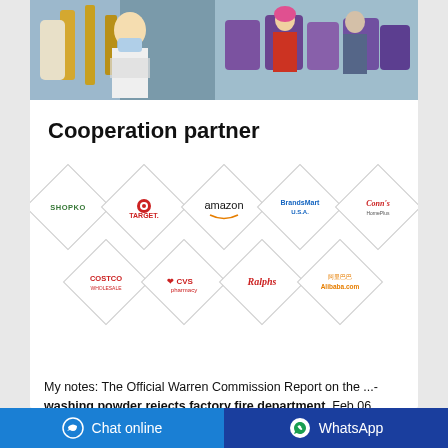[Figure (photo): Two photos side by side: left shows a lab worker in white coat and mask in a laboratory with yellow glass containers; right shows factory workers in masks handling purple packaged products on a production line.]
Cooperation partner
[Figure (infographic): Grid of diamond/rhombus shaped logo placeholders for retail partners: Row 1: Shopko, Target, amazon, BrandsMart U.S.A., Conn's HomePlus; Row 2: Costco Wholesale, CVS pharmacy, Ralphs, Alibaba.com]
My notes: The Official Warren Commission Report on the ...- washing powder rejects factory fire department ,Feb 06, 2009·The Official Warren Commission Report on the Assassination of President John Kennedy. LBJ assigned a commission to conduct an investigation into
Chat online | WhatsApp